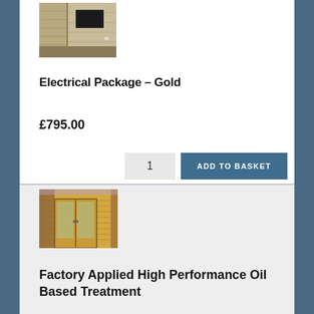[Figure (photo): Interior of a timber cabin/office with a wall-mounted TV or panel and light wood paneling on walls]
Electrical Package – Gold
£795.00
1  ADD TO BASKET
[Figure (photo): Exterior of a timber garden building with double glazed French doors, natural wood color]
Factory Applied High Performance Oil Based Treatment